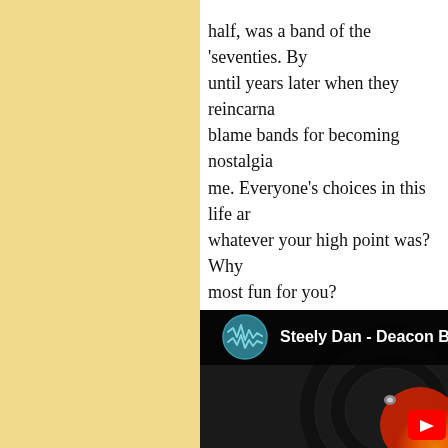half, was a band of the 'seventies. By until years later when they reincarna blame bands for becoming nostalgia me. Everyone's choices in this life ar whatever your high point was? Why most fun for you?
I don't know how Walter Becker died anything about Walter Becker? The b Becker moved to Maui, where he de farmer." Well that is something I did to go somewhere, and do something.
[Figure (screenshot): YouTube video thumbnail showing a vinyl record playing on a turntable with the title 'Steely Dan - Deacon B' visible alongside a music waveform icon]